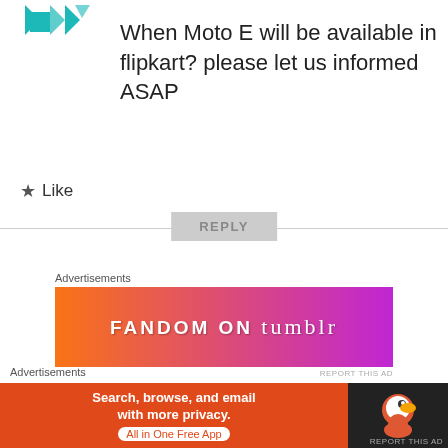[Figure (logo): Teal geometric logo with triangles and diamond shapes]
When Moto E will be available in flipkart? please let us informed ASAP
★ Like
REPLY
Advertisements
[Figure (other): FANDOM ON tumblr advertisement banner with orange to purple gradient]
REPORT THIS AD
[Figure (logo): Teal geometric avatar for user rahulji]
rahulji
MAY 30, 2014 AT 1:01 PM
Advertisements
[Figure (other): DuckDuckGo advertisement: Search, browse, and email with more privacy. All in One Free App]
REPORT THIS AD